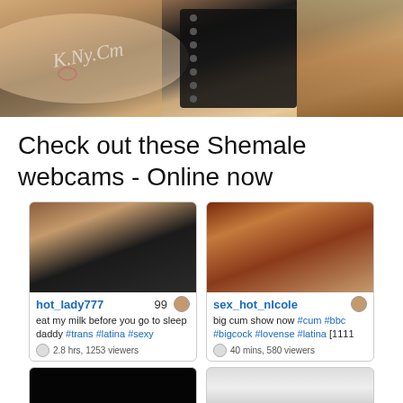[Figure (photo): Close-up photo of a hand with long nails, black corset/boots with metal rings on a patterned rug background, with a cursive watermark overlay]
Check out these Shemale webcams - Online now
[Figure (screenshot): Webcam thumbnail grid showing two live stream cards. Card 1: hot_lady777, 99 viewers, 'eat my milk before you go to sleep daddy #trans #latina #sexy', 2.8 hrs 1253 viewers. Card 2: sex_hot_nIcole, viewer icon, 'big cum show now #cum #bbc #bigcock #lovense #latina [1111', 40 mins 580 viewers. Below: two more partially visible thumbnails.]